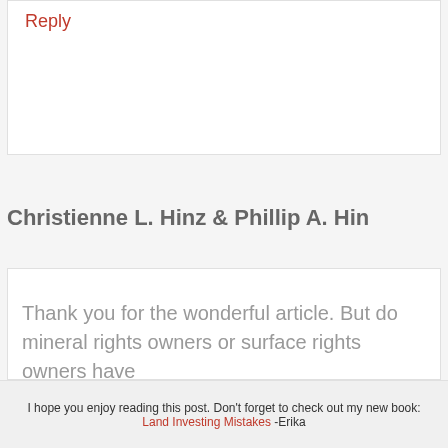Reply
Christienne L. Hinz & Phillip A. Hin
Thank you for the wonderful article. But do mineral rights owners or surface rights owners have
I hope you enjoy reading this post. Don't forget to check out my new book: Land Investing Mistakes -Erika